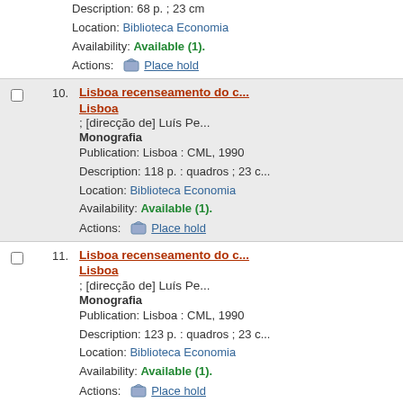Description: 68 p. ; 23 cm
Location: Biblioteca Economia
Availability: Available (1).
Actions: Place hold
10. Lisboa recenseamento do c... Lisboa ; [direcção de] Luís Pe... Monografia
Publication: Lisboa : CML, 1990
Description: 118 p. : quadros ; 23 c...
Location: Biblioteca Economia
Availability: Available (1).
Actions: Place hold
11. Lisboa recenseamento do c... Lisboa ; [direcção de] Luís Pe... Monografia
Publication: Lisboa : CML, 1990
Description: 123 p. : quadros ; 23 c...
Location: Biblioteca Economia
Availability: Available (1).
Actions: Place hold
12. Europa em 1994 : perspect... / Federação do Com...